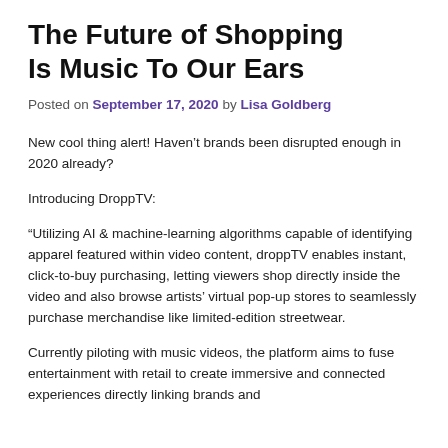The Future of Shopping Is Music To Our Ears
Posted on September 17, 2020 by Lisa Goldberg
New cool thing alert! Haven't brands been disrupted enough in 2020 already?
Introducing DroppTV:
“Utilizing AI & machine-learning algorithms capable of identifying apparel featured within video content, droppTV enables instant, click-to-buy purchasing, letting viewers shop directly inside the video and also browse artists’ virtual pop-up stores to seamlessly purchase merchandise like limited-edition streetwear.
Currently piloting with music videos, the platform aims to fuse entertainment with retail to create immersive and connected experiences directly linking brands and consumers with their audience, BOTH identifying them TV.